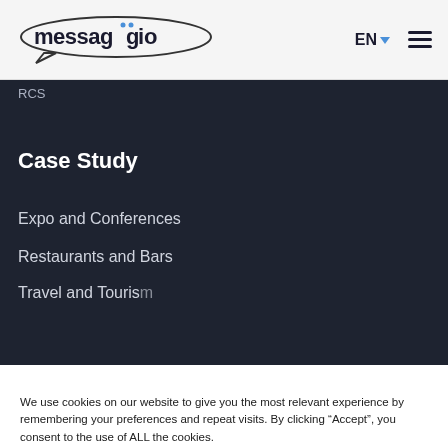messaggio EN
RCS
Case Study
Expo and Conferences
Restaurants and Bars
Travel and Tourism (partial)
We use cookies on our website to give you the most relevant experience by remembering your preferences and repeat visits. By clicking “Accept”, you consent to the use of ALL the cookies.
Cookie settings
ACCEPT